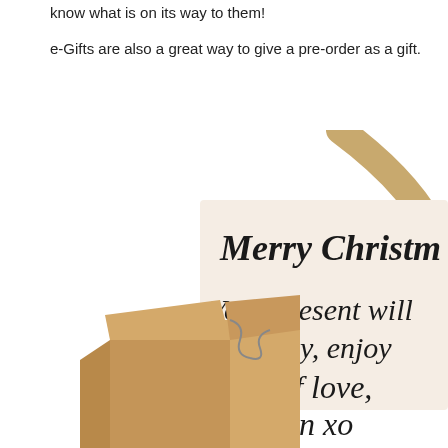know what is on its way to them!
e-Gifts are also a great way to give a pre-order as a gift.
[Figure (illustration): An illustrated e-gift card showing a cardboard box with a gift tag. The tag reads in cursive script: 'Merry Christm... Your present will ... shortly, enjoy ... Lots of love, Simon xo']